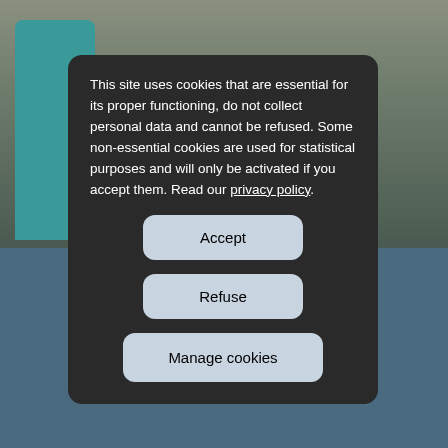[Figure (photo): Background showing a group of people in a formal government setting with a Dutch flag visible, partially obscured by a cookie consent dialog. The bottom half has a blue-grey background.]
This site uses cookies that are essential for its proper functioning, do not collect personal data and cannot be refused. Some non-essential cookies are used for statistical purposes and will only be activated if you accept them. Read our privacy policy.
Accept
Refuse
Manage cookies